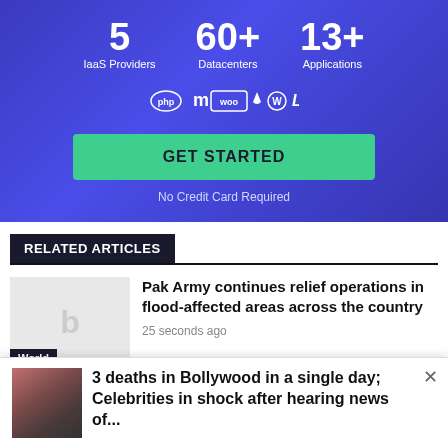[Figure (infographic): Cloud hosting advertisement banner with blue gradient background showing stats: 5 IaaS Providers, 60+ Datacenters, 13+ Applications, app icons (php, moodle, woo, droplet, wordpress, laravel), GET STARTED button, No Credit Card Required text]
RELATED ARTICLES
Pak Army continues relief operations in flood-affected areas across the country
25 seconds ago
3 deaths in Bollywood in a single day; Celebrities in shock after hearing news of...